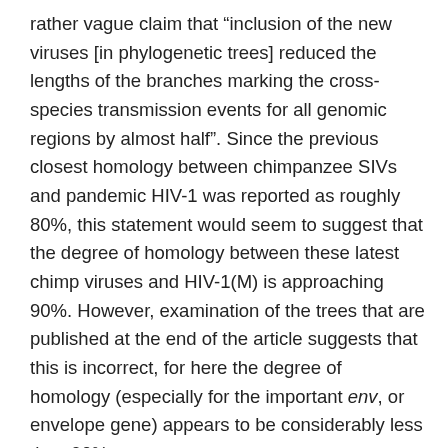rather vague claim that "inclusion of the new viruses [in phylogenetic trees] reduced the lengths of the branches marking the cross-species transmission events for all genomic regions by almost half". Since the previous closest homology between chimpanzee SIVs and pandemic HIV-1 was reported as roughly 80%, this statement would seem to suggest that the degree of homology between these latest chimp viruses and HIV-1(M) is approaching 90%. However, examination of the trees that are published at the end of the article suggests that this is incorrect, for here the degree of homology (especially for the important env, or envelope gene) appears to be considerably less than 90%.
4. This discovery of a new closest ancestor to pandemic HIV-1 is undoubtedly exciting, but sadly, as so often is the case with Dr Hahn and her